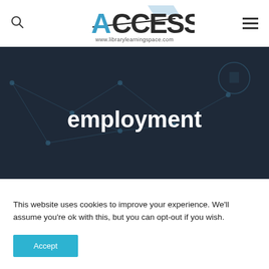ACCESS www.librarylearningspace.com
[Figure (photo): Person in suit touching a digital network interface tablet with cityscape background, dark overlay. Text overlay reads 'employment'.]
employment
This website uses cookies to improve your experience. We'll assume you're ok with this, but you can opt-out if you wish.
Accept